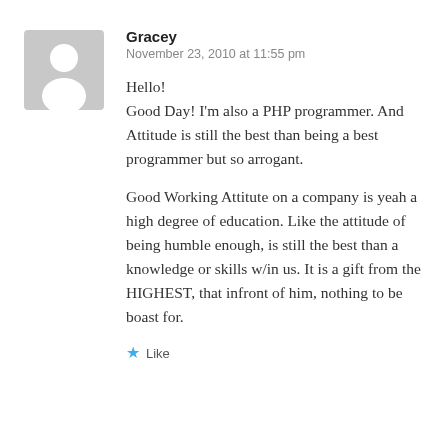[Figure (illustration): Generic user avatar icon: grey rounded square with white silhouette of a person (head and shoulders)]
Gracey
November 23, 2010 at 11:55 pm
Hello!
Good Day! I'm also a PHP programmer. And Attitude is still the best than being a best programmer but so arrogant.
Good Working Attitute on a company is yeah a high degree of education. Like the attitude of being humble enough, is still the best than a knowledge or skills w/in us. It is a gift from the HIGHEST, that infront of him, nothing to be boast for.
Like